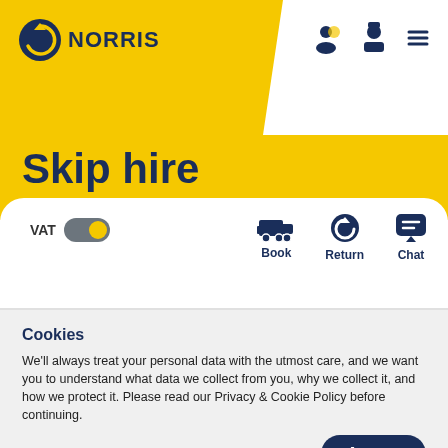[Figure (logo): Norris company logo with circular arrow icon and bold text NORRIS]
Skip hire
[Figure (infographic): Action icons row: VAT toggle switch (on), Book icon (truck), Return icon (return arrow), Chat icon (speech bubble)]
Cookies
We'll always treat your personal data with the utmost care, and we want you to understand what data we collect from you, why we collect it, and how we protect it. Please read our Privacy & Cookie Policy before continuing.
Privacy Policy
Accept